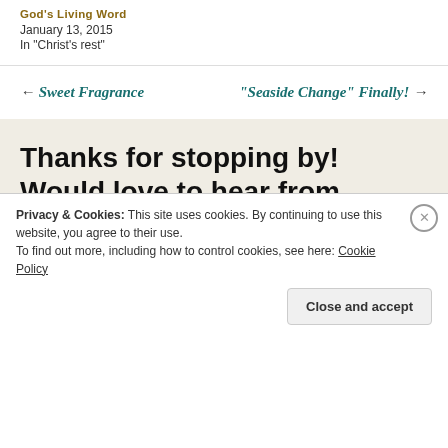God's Living Word
January 13, 2015
In "Christ's rest"
← Sweet Fragrance
"Seaside Change" Finally! →
Thanks for stopping by! Would love to hear from you....
Privacy & Cookies: This site uses cookies. By continuing to use this website, you agree to their use.
To find out more, including how to control cookies, see here: Cookie Policy
Close and accept